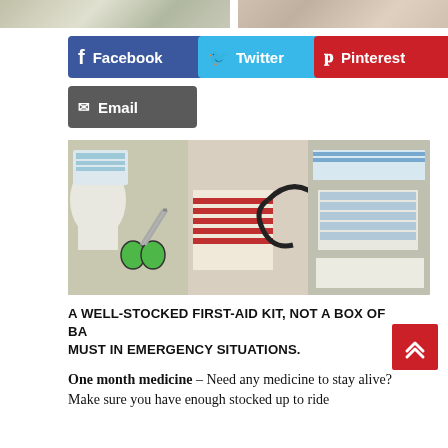[Figure (photo): Top strip showing partial images of medical/first-aid items]
[Figure (other): Facebook share button]
[Figure (other): Twitter share button]
[Figure (other): Pinterest share button]
[Figure (other): Email share button]
[Figure (photo): Photo of a first aid kit with scissors, stethoscope, bandages, and medical supplies spread out on a surface]
A WELL-STOCKED FIRST-AID KIT, NOT A BOX OF BA MUST IN EMERGENCY SITUATIONS.
One month medicine – Need any medicine to stay alive? Make sure you have enough stocked up to ride